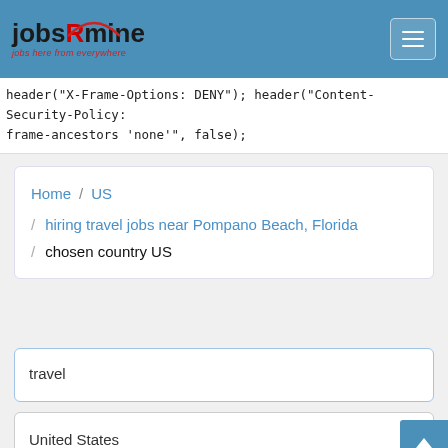[Figure (screenshot): jobsRmine logo with red arc and tagline 'jobs here from everywhere', hamburger menu button on blue header bar]
header("X-Frame-Options: DENY"); header("Content-Security-Policy: frame-ancestors 'none'", false);
Home / US / hiring travel jobs near Pompano Beach, Florida / chosen country US
travel
United States
Florida